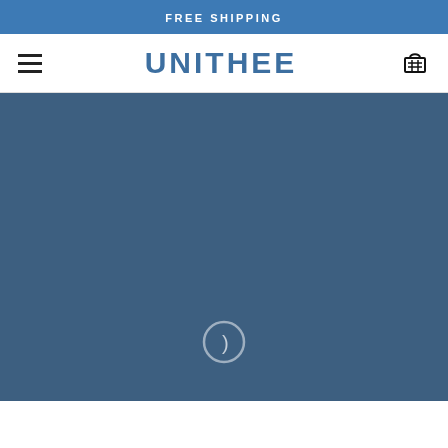FREE SHIPPING
UNITHEE
[Figure (illustration): Dark steel-blue hero banner image area with a loading spinner (circle with parenthesis) visible at the bottom center]